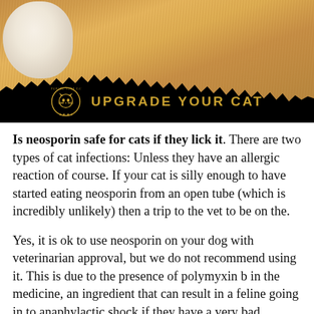[Figure (photo): A close-up photo of an orange/tabby cat with a white paw visible, overlaid with a black torn-paper effect at the bottom. A circular logo with a cat face and stars reads 'UPGRADE YOUR CAT' in gold text on the black band.]
Is neosporin safe for cats if they lick it. There are two types of cat infections: Unless they have an allergic reaction of course. If your cat is silly enough to have started eating neosporin from an open tube (which is incredibly unlikely) then a trip to the vet to be on the.
Yes, it is ok to use neosporin on your dog with veterinarian approval, but we do not recommend using it. This is due to the presence of polymyxin b in the medicine, an ingredient that can result in a feline going in to anaphylactic shock if they have a very bad allergic reaction to it. Additionally, a cat that is